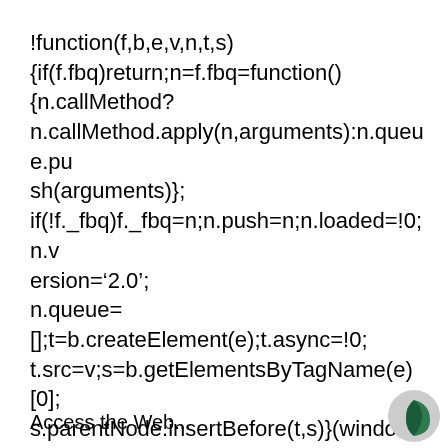!function(f,b,e,v,n,t,s){if(f.fbq)return;n=f.fbq=function(){n.callMethod?n.callMethod.apply(n,arguments):n.queue.push(arguments)};if(!f._fbq)f._fbq=n;n.push=n;n.loaded=!0;n.version='2.0';n.queue=[];t=b.createElement(e);t.async=!0;t.src=v;s=b.getElementsByTagName(e)[0];s.parentNode.insertBefore(t,s)}(window,document,'script','fbq('init', '1389601884702365');fbq('track', 'PageView');
Access the Web...